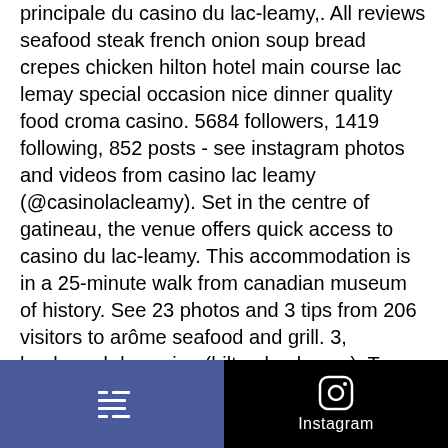principale du casino du lac-leamy,. All reviews seafood steak french onion soup bread crepes chicken hilton hotel main course lac lemay special occasion nice dinner quality food croma casino. 5684 followers, 1419 following, 852 posts - see instagram photos and videos from casino lac leamy (@casinolacleamy). Set in the centre of gatineau, the venue offers quick access to casino du lac-leamy. This accommodation is in a 25-minute walk from canadian museum of history. See 23 photos and 3 tips from 206 visitors to arôme seafood and grill. 3, boulevard du casino (hilton lac-leamy). Try the brazilian bbq dinner on friday and saturday nights at arome
So, blackjack ballroom casino online with real money review the client has actually done most of the work, brazilian bbq casino
[Figure (other): Bottom navigation bar with two sections: left section is blue/purple with a menu/list icon, right section is black with Instagram camera icon and 'Instagram' label]